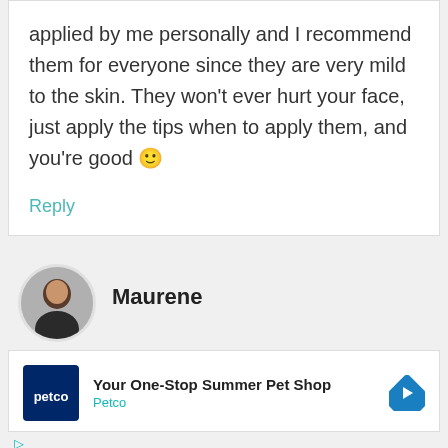applied by me personally and I recommend them for everyone since they are very mild to the skin. They won't ever hurt your face, just apply the tips when to apply them, and you're good 🙂
Reply
Maurene
[Figure (screenshot): Petco advertisement: 'Your One-Stop Summer Pet Shop' with Petco logo and navigation arrow icon]